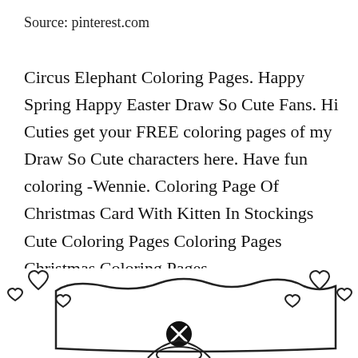Source: pinterest.com
Circus Elephant Coloring Pages. Happy Spring Happy Easter Draw So Cute Fans. Hi Cuties get your FREE coloring pages of my Draw So Cute characters here. Have fun coloring -Wennie. Coloring Page Of Christmas Card With Kitten In Stockings Cute Coloring Pages Coloring Pages Christmas Coloring Pages.
[Figure (illustration): Bottom portion of a coloring page illustration showing a decorative banner or sign with heart shapes on the corners and sides, with a circular close/cancel button icon (circled X) in the center bottom area. The image is cropped showing only the top portion of what appears to be a cute character coloring page.]